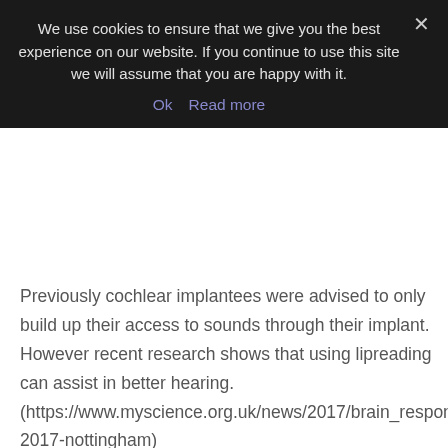We use cookies to ensure that we give you the best experience on our website. If you continue to use this site we will assume that you are happy with it.
Ok  Read more
Previously cochlear implantees were advised to only build up their access to sounds through their implant. However recent research shows that using lipreading can assist in better hearing. (https://www.myscience.org.uk/news/2017/brain_responses 2017-nottingham)
Indigo Access offer private 10 week classes. Contact hello@indigoaccess.co.uk for more information!